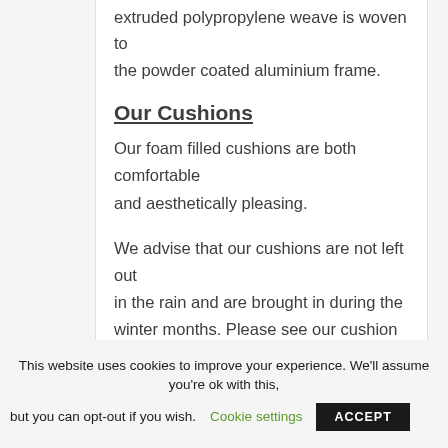extruded polypropylene weave is woven to the powder coated aluminium frame.
Our Cushions
Our foam filled cushions are both comfortable and aesthetically pleasing.
We advise that our cushions are not left out in the rain and are brought in during the winter months. Please see our cushion storage products for examples.
Measurements
This website uses cookies to improve your experience. We'll assume you're ok with this, but you can opt-out if you wish. Cookie settings ACCEPT